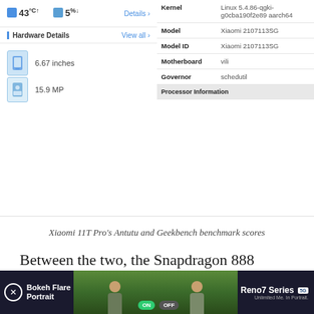[Figure (screenshot): Screenshot showing Xiaomi 11T Pro's Antutu and Geekbench benchmark interface. Left panel shows temperature (43°C), storage (5%), Hardware Details with 6.67 inches and 15.9 MP. Right panel shows system info table with Kernel (Linux 5.4.86-qgki-g0cba190f2e89 aarch64), Model (Xiaomi 2107113SG), Model ID (Xiaomi 2107113SG), Motherboard (vili), Governor (schedutil), and Processor Information header.]
Xiaomi 11T Pro's Antutu and Geekbench benchmark scores
Between the two, the Snapdragon 888 comes out on top in most benchmarks, although the Dimensity 1200 isn't far behind. Both deliver an equally smooth and responsive smartphone experience that we have come to expect from Xiaomi's top-shelf
[Figure (photo): Advertisement banner for Oppo Reno7 Series 5G featuring Bokeh Flare Portrait mode, showing two people in hats looking up, with ON/OFF toggle comparison.]